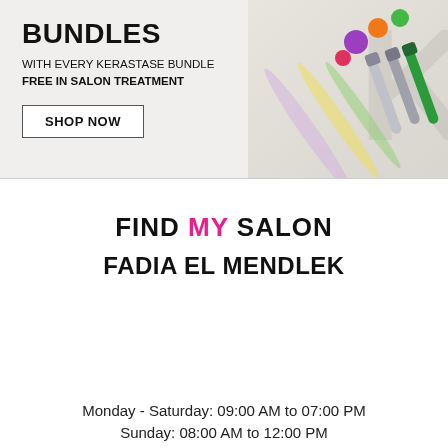[Figure (illustration): Kérastase bundle promotion banner with colorful hair product capsules and tubes on a light grey background]
BUNDLES
WITH EVERY KERASTASE BUNDLE
FREE IN SALON TREATMENT
SHOP NOW
FIND MY SALON
FADIA EL MENDLEK
[Figure (screenshot): Loolia Closet app download popup banner with pink background, logo, download call to action, and OPEN button]
Monday - Saturday: 09:00 AM to 07:00 PM
Sunday: 08:00 AM to 12:00 PM